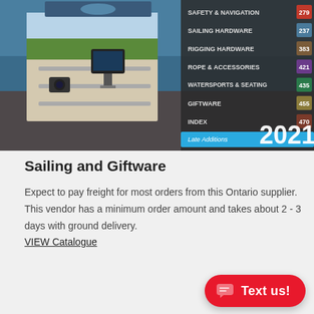[Figure (illustration): 2021 sailing and giftware catalogue cover showing a boat navigation device mounted on a railing with water in background, and a table of contents listing Safety & Navigation 279, Sailing Hardware 237, Rigging Hardware 383, Rope & Accessories 421, Watersports & Seating 435, Giftware 455, Index 470, Late Additions]
Sailing and Giftware
Expect to pay freight for most orders from this Ontario supplier. This vendor has a minimum order amount and takes about 2 - 3 days with ground delivery. VIEW Catalogue